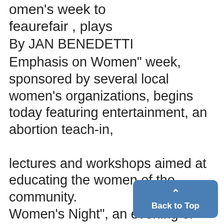omen's week to feaurefair , plays
By JAN BENEDETTI
Emphasis on Women" week, sponsored by several local women's organizations, begins today featuring entertainment, an abortion teach-in, lectures and workshops aimed at educating the women of the community. Women's Night", an evening of consciousness- >K raising plays and improvisation